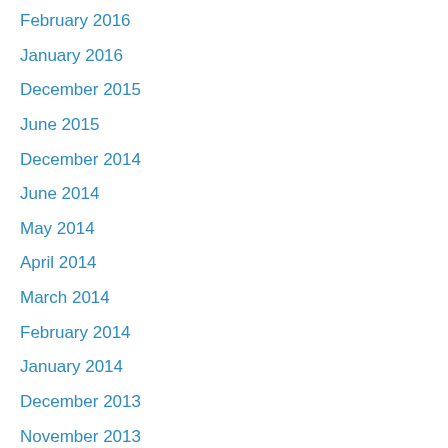February 2016
January 2016
December 2015
June 2015
December 2014
June 2014
May 2014
April 2014
March 2014
February 2014
January 2014
December 2013
November 2013
Privacy & Cookies: This site uses cookies. By continuing to use this website, you agree to their use.
To find out more, including how to control cookies, see here: Cookie Policy
Close and accept